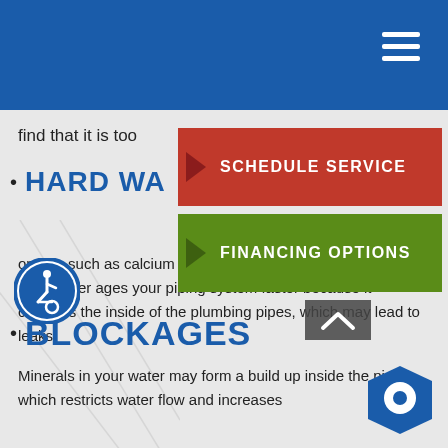find that it is too
HARD WATER
Water in certain areas which is higher in mineral content, such as calcium or magnesium, is called 'hard water'. Hard water ages your piping system faster because it corrodes the inside of the plumbing pipes, which may lead to leaks.
BLOCKAGES
Minerals in your water may form a build up inside the pipes which restricts water flow and increases
[Figure (screenshot): Red button with arrow: SCHEDULE SERVICE]
[Figure (screenshot): Green button with arrow: FINANCING OPTIONS]
[Figure (logo): Accessibility icon - person in wheelchair in circle]
[Figure (logo): Blue hexagon chat icon]